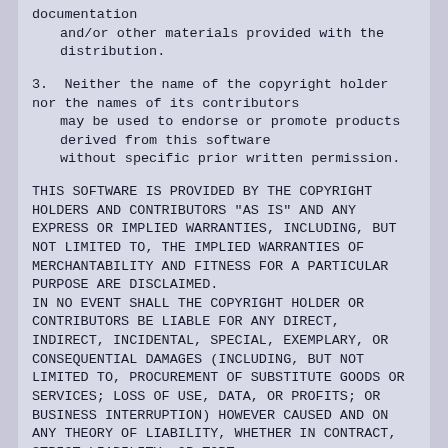documentation
    and/or other materials provided with the distribution.
3.  Neither the name of the copyright holder nor the names of its contributors
    may be used to endorse or promote products derived from this software
    without specific prior written permission.
THIS SOFTWARE IS PROVIDED BY THE COPYRIGHT HOLDERS AND CONTRIBUTORS "AS IS" AND ANY EXPRESS OR IMPLIED WARRANTIES, INCLUDING, BUT NOT LIMITED TO, THE IMPLIED WARRANTIES OF MERCHANTABILITY AND FITNESS FOR A PARTICULAR PURPOSE ARE DISCLAIMED. IN NO EVENT SHALL THE COPYRIGHT HOLDER OR CONTRIBUTORS BE LIABLE FOR ANY DIRECT, INDIRECT, INCIDENTAL, SPECIAL, EXEMPLARY, OR CONSEQUENTIAL DAMAGES (INCLUDING, BUT NOT LIMITED TO, PROCUREMENT OF SUBSTITUTE GOODS OR SERVICES; LOSS OF USE, DATA, OR PROFITS; OR BUSINESS INTERRUPTION) HOWEVER CAUSED AND ON ANY THEORY OF LIABILITY, WHETHER IN CONTRACT, STRICT LIABILITY, OR TORT